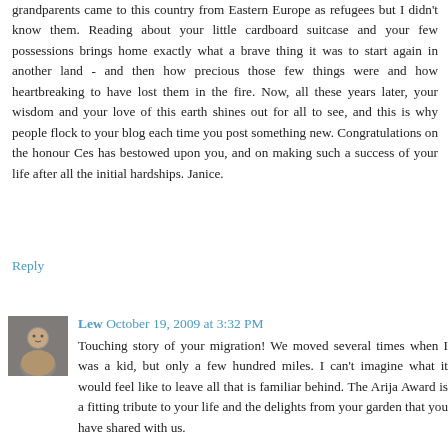grandparents came to this country from Eastern Europe as refugees but I didn't know them. Reading about your little cardboard suitcase and your few possessions brings home exactly what a brave thing it was to start again in another land - and then how precious those few things were and how heartbreaking to have lost them in the fire. Now, all these years later, your wisdom and your love of this earth shines out for all to see, and this is why people flock to your blog each time you post something new. Congratulations on the honour Ces has bestowed upon you, and on making such a success of your life after all the initial hardships. Janice.
Reply
Lew October 19, 2009 at 3:32 PM
Touching story of your migration! We moved several times when I was a kid, but only a few hundred miles. I can't imagine what it would feel like to leave all that is familiar behind. The Arija Award is a fitting tribute to your life and the delights from your garden that you have shared with us.